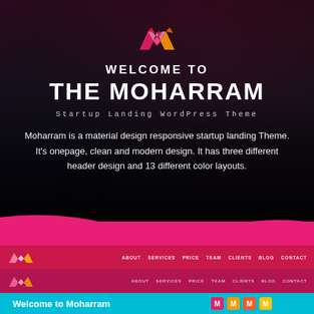[Figure (screenshot): Screenshot of a WordPress theme called 'Moharram' — a startup landing page theme. The top portion shows a dark hero section with a colorful M-shaped logo, bold white text reading 'WELCOME TO THE MOHARRAM', a monospaced subtitle 'Startup Landing WordPress Theme', and a descriptive paragraph. Below the wave separator are three stacked navigation bars in shades of pink/magenta, each showing a logo on the left and navigation links (ABOUT, SERVICES, PRICE, TEAM, CLIENTS, BLOG, CONTACT) on the right. The bottom of the image shows a cyan/teal section with 'Welcome to Moharram' text and some colorful icons.]